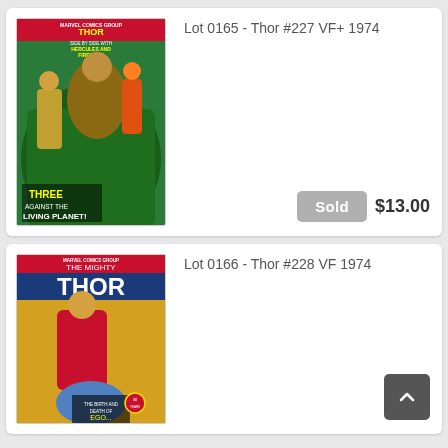[Figure (illustration): Comic book cover for Thor #227, Marvel Comics, 1974, featuring Thor, Hercules and Firelord against the Living Planet]
Lot 0165 - Thor #227 VF+ 1974
Sold  $13.00
[Figure (illustration): Comic book cover for Thor #228, Marvel Comics Group, 1974, featuring Thor and the birth and death of Ego]
Lot 0166 - Thor #228 VF 1974